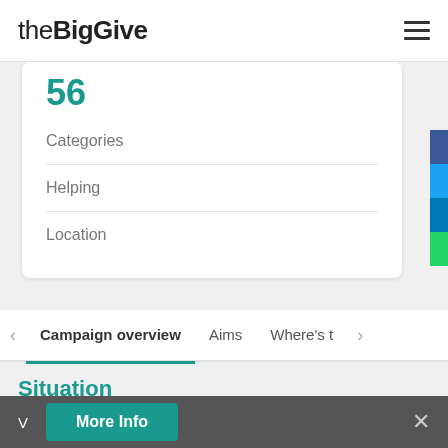theBigGive
56
Categories
Helping
Location
Campaign overview | Aims | Where's t
Situation
ÔCß Basic free health care provision is limited to emergency assistance only. All other care (including medication) has to be paid for — with no state back-up.
V  More Info  ×